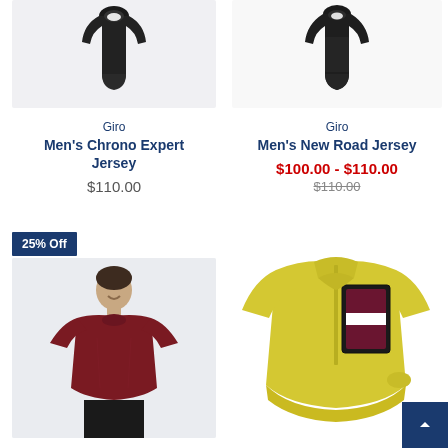[Figure (photo): Black cycling jersey/vest product photo on light gray background - Giro Men's Chrono Expert Jersey]
Giro
Men's Chrono Expert Jersey
$110.00
[Figure (photo): Black cycling jersey/vest product photo on light background - Giro Men's New Road Jersey]
Giro
Men's New Road Jersey
$100.00 - $110.00
$110.00
25% Off
[Figure (photo): Woman wearing dark red/maroon cycling jersey, smiling, on light blue-gray background]
[Figure (photo): Yellow/chartreuse cycling jersey with dark maroon and white panel detail on front, short sleeves]